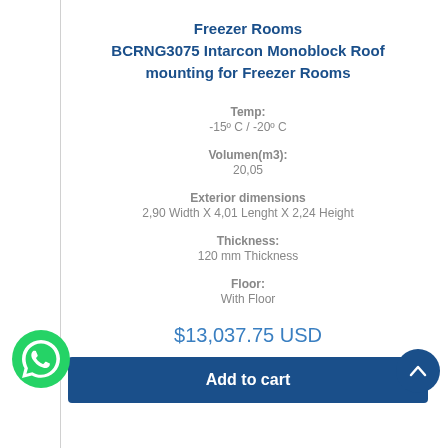Freezer Rooms BCRNG3075 Intarcon Monoblock Roof mounting for Freezer Rooms
Temp: -15º C / -20º C
Volumen(m3): 20,05
Exterior dimensions 2,90 Width X 4,01 Lenght X 2,24 Height
Thickness: 120 mm Thickness
Floor: With Floor
$13,037.75 USD
Add to cart